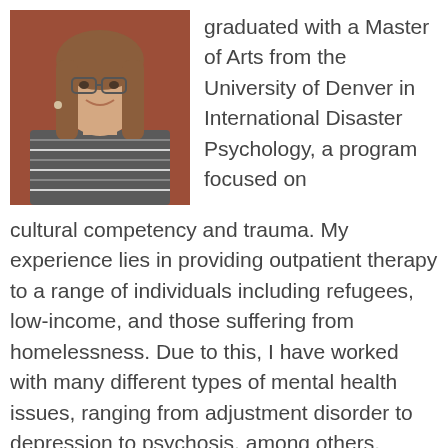[Figure (photo): Headshot of a smiling young woman with long brown hair and glasses, wearing a striped turtleneck sweater, against a reddish-brown background.]
graduated with a Master of Arts from the University of Denver in International Disaster Psychology, a program focused on cultural competency and trauma. My experience lies in providing outpatient therapy to a range of individuals including refugees, low-income, and those suffering from homelessness. Due to this, I have worked with many different types of mental health issues, ranging from adjustment disorder to depression to psychosis, among others. Whatever brings you into therapy, I am ready to jump in with you...
Specialties: Stress, Anxiety, Trauma and abuse, Self esteem, Depression, Addictions, Relationship issues, Family conflicts, Grief, Anger management, Bipolar...